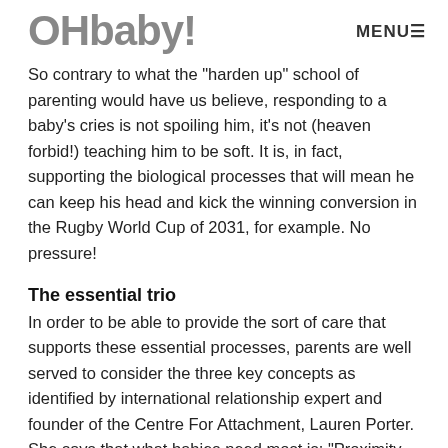OHbaby! MENU≡
So contrary to what the "harden up" school of parenting would have us believe, responding to a baby's cries is not spoiling him, it's not (heaven forbid!) teaching him to be soft. It is, in fact, supporting the biological processes that will mean he can keep his head and kick the winning conversion in the Rugby World Cup of 2031, for example. No pressure!
The essential trio
In order to be able to provide the sort of care that supports these essential processes, parents are well served to consider the three key concepts as identified by international relationship expert and founder of the Centre For Attachment, Lauren Porter. She says that what babies need most is: "Proximity, sensitivity and responsiveness".
To expand: proximity means we first need to be near our babies - close enough to hear their cries and observe their